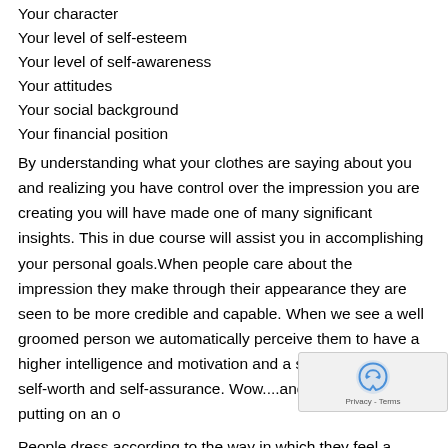Your character
Your level of self-esteem
Your level of self-awareness
Your attitudes
Your social background
Your financial position
By understanding what your clothes are saying about you and realizing you have control over the impression you are creating you will have made one of many significant insights. This in due course will assist you in accomplishing your personal goals.When people care about the impression they make through their appearance they are seen to be more credible and capable. When we see a well groomed person we automatically perceive them to have a higher intelligence and motivation and a superior level of self-worth and self-assurance. Wow....and all this from just putting on an o
People dress according to the way in which they feel a...